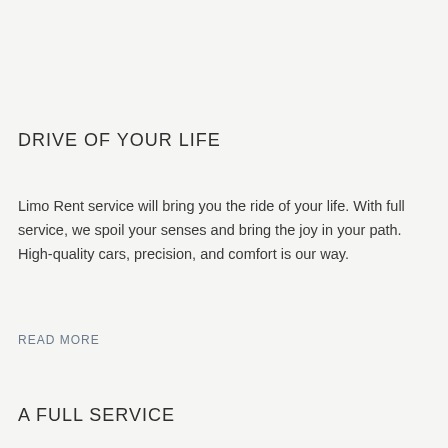DRIVE OF YOUR LIFE
Limo Rent service will bring you the ride of your life. With full service, we spoil your senses and bring the joy in your path. High-quality cars, precision, and comfort is our way.
READ MORE
A FULL SERVICE